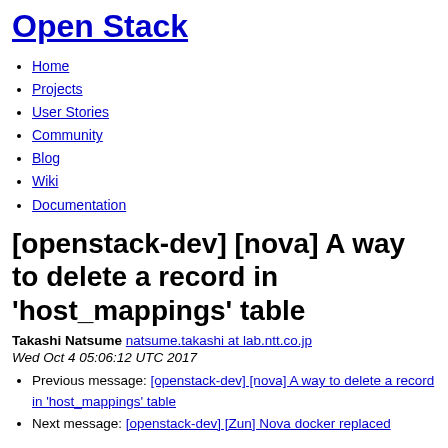Open Stack
Home
Projects
User Stories
Community
Blog
Wiki
Documentation
[openstack-dev] [nova] A way to delete a record in 'host_mappings' table
Takashi Natsume natsume.takashi at lab.ntt.co.jp
Wed Oct 4 05:06:12 UTC 2017
Previous message: [openstack-dev] [nova] A way to delete a record in 'host_mappings' table
Next message: [openstack-dev] [Zun] Nova docker replaced